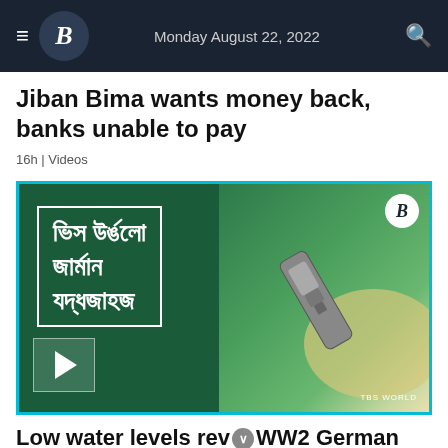Monday August 22, 2022
Jiban Bima wants money back, banks unable to pay
16h | Videos
[Figure (screenshot): Video thumbnail showing Bengali text overlay on green background with aerial view of a ship, play button in bottom left, TBS World logo, and B circle logo in top right corner.]
Low water levels rev WW2 German